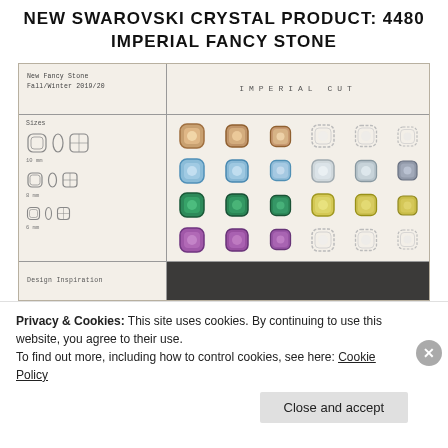NEW SWAROVSKI CRYSTAL PRODUCT: 4480 IMPERIAL FANCY STONE
[Figure (photo): Product display card showing Swarovski 4480 Imperial Fancy Stone in multiple sizes and colors. Left panel shows size diagrams (10mm, 8mm, 6mm) and 'Design Inspiration' label. Right panel shows grid of crystal gems in rows: rose/copper tones, blue/aqua tones, green/yellow tones, and purple/violet tones. Header reads 'New Fancy Stone Fall/Winter 2019/20' on left and 'IMPERIAL CUT' on right.]
Privacy & Cookies: This site uses cookies. By continuing to use this website, you agree to their use.
To find out more, including how to control cookies, see here: Cookie Policy
Close and accept